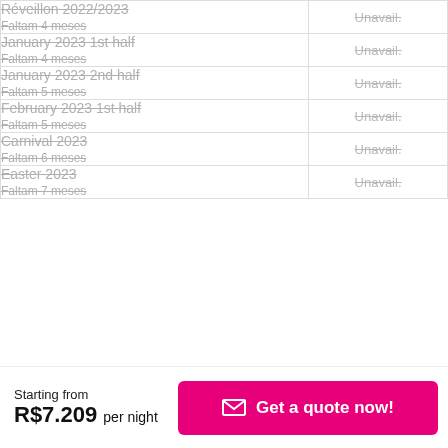| Period | Availability |
| --- | --- |
| Réveillon 2022/2023 / Faltam 4 meses | Unavail. |
| January 2023 1st half / Faltam 4 meses | Unavail. |
| January 2023 2nd half / Faltam 5 meses | Unavail. |
| February 2023 1st half / Faltam 5 meses | Unavail. |
| Carnival 2023 / Faltam 6 meses | Unavail. |
| Easter 2023 / Faltam 7 meses | Unavail. |
Starting from R$7.209 per night
Get a quote now!